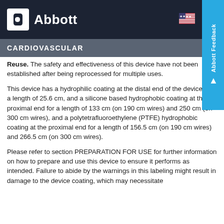Abbott — CARDIOVASCULAR
Reuse. The safety and effectiveness of this device have not been established after being reprocessed for multiple uses.
This device has a hydrophilic coat at the distal end of the device for a length of 25.6 cm, and a silicone based hydrophobic coating at the proximal end for a length of 133 cm (on 190 cm wires) and 250 cm (on 300 cm wires), and a polytetrafluoroethylene (PTFE) hydrophobic coating at the proximal end for a length of 156.5 cm (on 190 cm wires) and 266.5 cm (on 300 cm wires).
Please refer to section PREPARATION FOR USE for further information on how to prepare and use this device to ensure it performs as intended. Failure to abide by the warnings in this labeling might result in damage to the device coating, which may necessitate